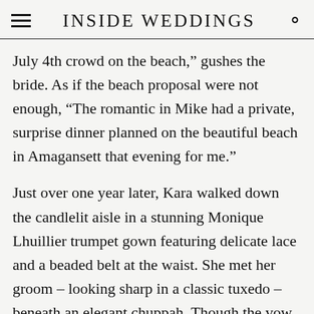INSIDE WEDDINGS
July 4th crowd on the beach,” gushes the bride. As if the beach proposal were not enough, “The romantic in Mike had a private, surprise dinner planned on the beautiful beach in Amagansett that evening for me.”
Just over one year later, Kara walked down the candlelit aisle in a stunning Monique Lhuillier trumpet gown featuring delicate lace and a beaded belt at the waist. She met her groom – looking sharp in a classic tuxedo – beneath an elegant chuppah. Though the vow exchange was lovely, it was after the ceremony that served to be the most memorable moment for the bride. When asked what